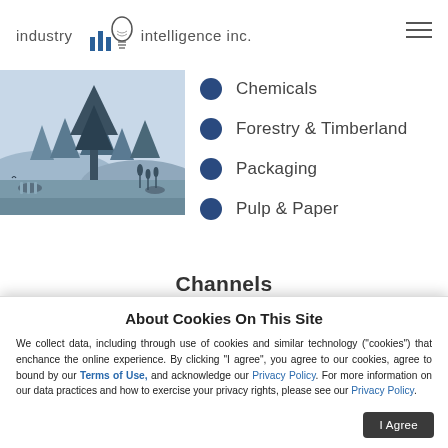industry intelligence inc.
[Figure (illustration): Illustrated forest scene with trees in blue-grey tones, depicting forestry landscape with birds and logs.]
Chemicals
Forestry & Timberland
Packaging
Pulp & Paper
Channels
About Cookies On This Site

We collect data, including through use of cookies and similar technology ("cookies") that enchance the online experience. By clicking "I agree", you agree to our cookies, agree to bound by our Terms of Use, and acknowledge our Privacy Policy. For more information on our data practices and how to exercise your privacy rights, please see our Privacy Policy.